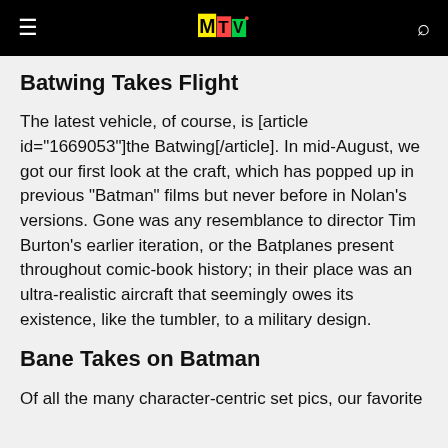MTV
Batwing Takes Flight
The latest vehicle, of course, is [article id="1669053"]the Batwing[/article]. In mid-August, we got our first look at the craft, which has popped up in previous "Batman" films but never before in Nolan's versions. Gone was any resemblance to director Tim Burton's earlier iteration, or the Batplanes present throughout comic-book history; in their place was an ultra-realistic aircraft that seemingly owes its existence, like the tumbler, to a military design.
Bane Takes on Batman
Of all the many character-centric set pics, our favorite